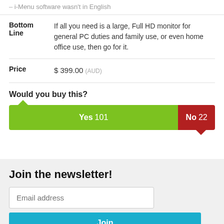i-Menu software wasn't in English
|  |  |
| --- | --- |
| Bottom Line | If all you need is a large, Full HD monitor for general PC duties and family use, or even home office use, then go for it. |
| Price | $ 399.00 (AUD) |
Would you buy this?
[Figure (bar-chart): Would you buy this?]
Join the newsletter!
Email address
Join